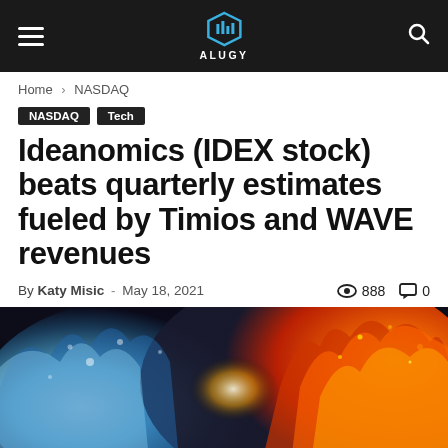ALUGY
Home › NASDAQ
NASDAQ  Tech
Ideanomics (IDEX stock) beats quarterly estimates fueled by Timios and WAVE revenues
By Katy Misic - May 18, 2021  👁 888  💬 0
[Figure (photo): Dramatic image of fire and water/ice collision against a dark background, representing financial competition or clash.]